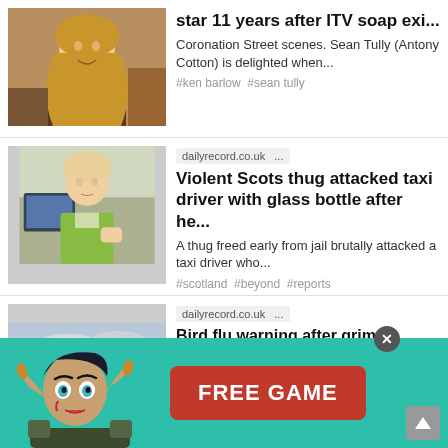[Figure (photo): Blonde woman smiling in a pub or restaurant setting]
star 11 years after ITV soap exi...
Coronation Street scenes. Sean Tully (Antony Cotton) is delighted when...
#ken barlow #sean tully
[Figure (photo): Young man in a green jacket]
dailyrecord.co.uk ...
Violent Scots thug attacked taxi driver with glass bottle after he...
A thug freed early from jail brutally attacked a taxi driver who...
#scotland #beyond #reports
[Figure (photo): Countryside scene with a farmhouse and dramatic sky]
dailyrecord.co.uk ...
Bird flu warning after grim discovery of dead birds
[Figure (illustration): Fantasy elf game character advertisement with FREE GAME button]